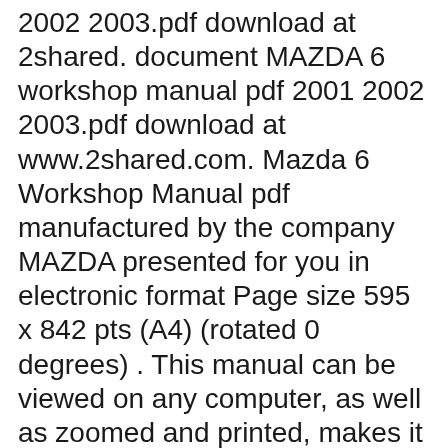2002 2003.pdf download at 2shared. document MAZDA 6 workshop manual pdf 2001 2002 2003.pdf download at www.2shared.com. Mazda 6 Workshop Manual pdf manufactured by the company MAZDA presented for you in electronic format Page size 595 x 842 pts (A4) (rotated 0 degrees) . This manual can be viewed on any computer, as well as zoomed and printed, makes it easy to diagnose вЂ¦
MAZDA 6 workshop manual pdf 2001 2002 2003.pdf download at 2shared. document MAZDA 6 workshop manual pdf 2001 2002 2003.pdf download at www.2shared.com. MAZDA 6 workshop manual pdf 2001 2002 2003.pdf...